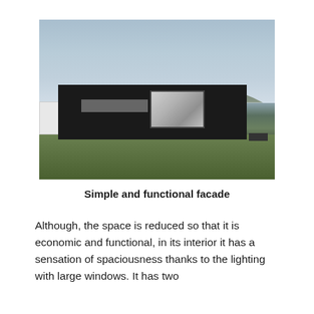[Figure (photo): Exterior photograph of a modern dark/black container-style modular building with a large picture window showing interior, set on grass with a cloudy sky background. A white trailer home is visible on the left side.]
Simple and functional facade
Although, the space is reduced so that it is economic and functional, in its interior it has a sensation of spaciousness thanks to the lighting with large windows. It has two